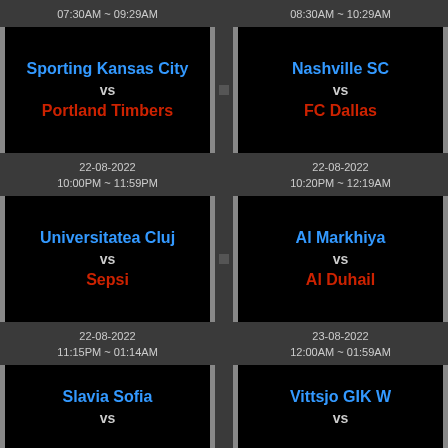07:30AM ~ 09:29AM
08:30AM ~ 10:29AM
Sporting Kansas City vs Portland Timbers
Nashville SC vs FC Dallas
22-08-2022
10:00PM ~ 11:59PM
22-08-2022
10:20PM ~ 12:19AM
Universitatea Cluj vs Sepsi
Al Markhiya vs Al Duhail
22-08-2022
11:15PM ~ 01:14AM
23-08-2022
12:00AM ~ 01:59AM
Slavia Sofia vs
Vittsjo GIK W vs